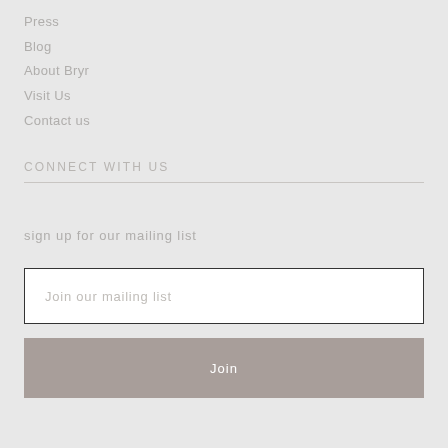Press
Blog
About Bryr
Visit Us
Contact us
CONNECT WITH US
sign up for our mailing list
Join our mailing list
Join